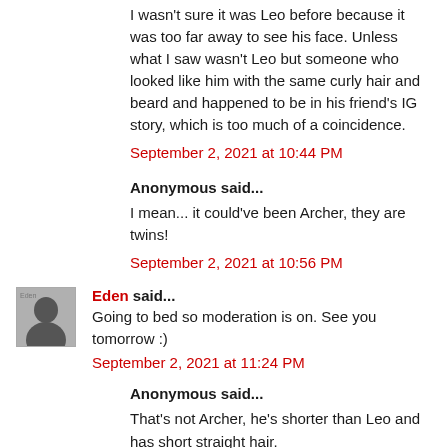I wasn't sure it was Leo before because it was too far away to see his face. Unless what I saw wasn't Leo but someone who looked like him with the same curly hair and beard and happened to be in his friend's IG story, which is too much of a coincidence.
September 2, 2021 at 10:44 PM
Anonymous said...
I mean... it could've been Archer, they are twins!
September 2, 2021 at 10:56 PM
Eden said...
Going to bed so moderation is on. See you tomorrow :)
September 2, 2021 at 11:24 PM
Anonymous said...
That's not Archer, he's shorter than Leo and has short straight hair.
September 2, 2021 at 11:28 PM